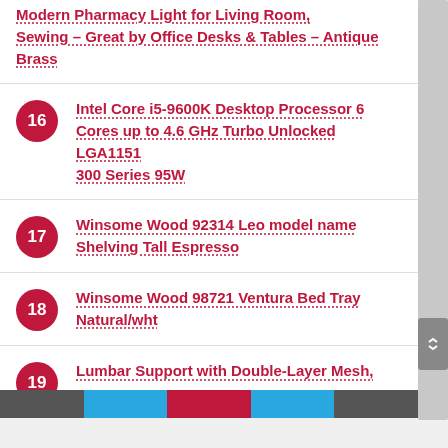Modern Pharmacy Light for Living Room, Sewing – Great by Office Desks & Tables – Antique Brass
16 Intel Core i5-9600K Desktop Processor 6 Cores up to 4.6 GHz Turbo Unlocked LGA1151 300 Series 95W
17 Winsome Wood 92314 Leo model name Shelving Tall Espresso
18 Winsome Wood 98721 Ventura Bed Tray Natural/wht
19 Lumbar Support with Double-Layer Mesh,